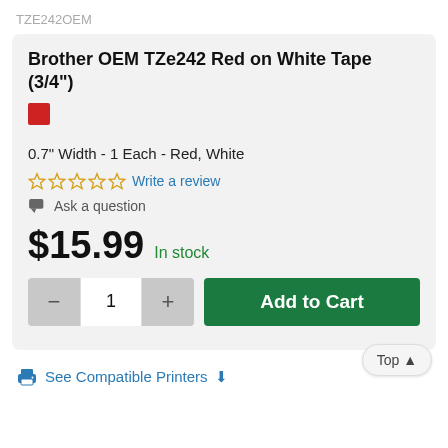TZE242OEM
Brother OEM TZe242 Red on White Tape (3/4")
0.7" Width - 1 Each - Red, White
☆☆☆☆☆ Write a review
Ask a question
$15.99 In stock
- 1 + Add to Cart
See Compatible Printers ⊕
Top ▲